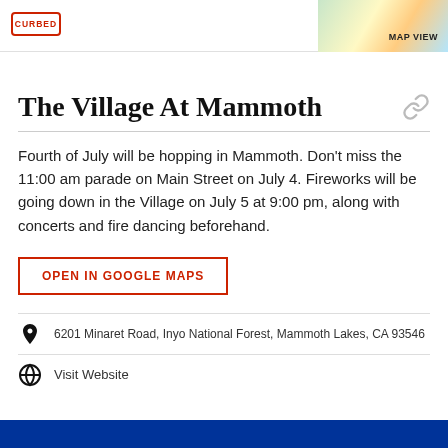CURBED | MAP VIEW
The Village At Mammoth
Fourth of July will be hopping in Mammoth. Don't miss the 11:00 am parade on Main Street on July 4. Fireworks will be going down in the Village on July 5 at 9:00 pm, along with concerts and fire dancing beforehand.
OPEN IN GOOGLE MAPS
6201 Minaret Road, Inyo National Forest, Mammoth Lakes, CA 93546
Visit Website